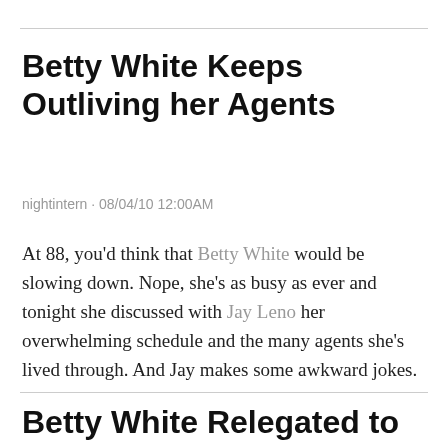Betty White Keeps Outliving her Agents
nightintern · 08/04/10 12:00AM
At 88, you'd think that Betty White would be slowing down. Nope, she's as busy as ever and tonight she discussed with Jay Leno her overwhelming schedule and the many agents she's lived through. And Jay makes some awkward jokes.
Betty White Relegated to